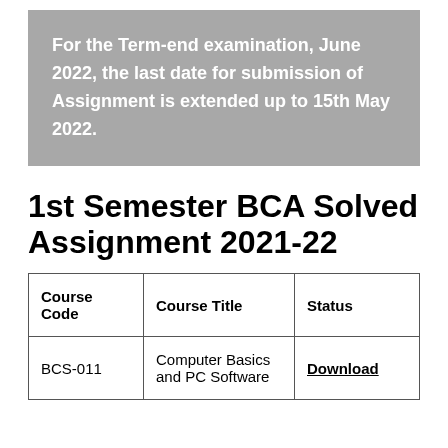For the Term-end examination, June 2022, the last date for submission of Assignment is extended up to 15th May 2022.
1st Semester BCA Solved Assignment 2021-22
| Course Code | Course Title | Status |
| --- | --- | --- |
| BCS-011 | Computer Basics and PC Software | Download |